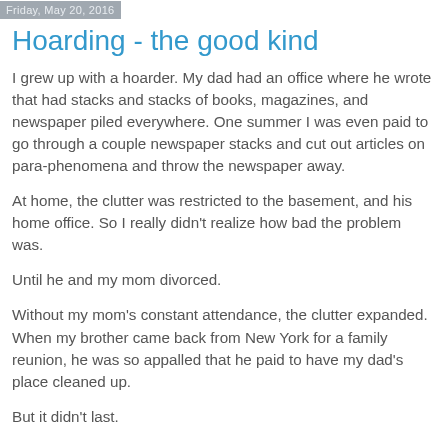Friday, May 20, 2016
Hoarding - the good kind
I grew up with a hoarder.  My dad had an office where he wrote that had stacks and stacks of books, magazines, and newspaper piled everywhere.  One summer I was even paid to go through a couple newspaper stacks and cut out articles on para-phenomena and throw the newspaper away.
At home, the clutter was restricted to the basement, and his home office.  So I really didn't realize how bad the problem was.
Until he and my mom divorced.
Without my mom's constant attendance, the clutter expanded.  When my brother came back from New York for a family reunion, he was so appalled that he paid to have my dad's place cleaned up.
But it didn't last.